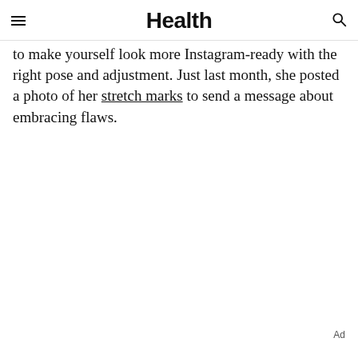Health
to make yourself look more Instagram-ready with the right pose and adjustment. Just last month, she posted a photo of her stretch marks to send a message about embracing flaws.
Ad